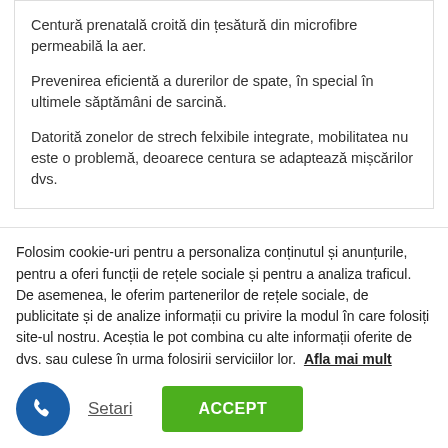Centură prenatală croită din țesătură din microfibre permeabilă la aer.
Prevenirea eficientă a durerilor de spate, în special în ultimele săptămâni de sarcină.
Datorită zonelor de strech felxibile integrate, mobilitatea nu este o problemă, deoarece centura se adaptează mișcărilor dvs.
Folosim cookie-uri pentru a personaliza conținutul și anunțurile, pentru a oferi funcții de rețele sociale și pentru a analiza traficul. De asemenea, le oferim partenerilor de rețele sociale, de publicitate și de analize informații cu privire la modul în care folosiți site-ul nostru. Aceștia le pot combina cu alte informații oferite de dvs. sau culese în urma folosirii serviciilor lor. Afla mai mult